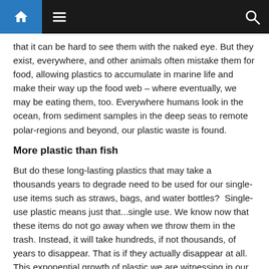Navigation bar with home, menu, and search icons
that it can be hard to see them with the naked eye. But they exist, everywhere, and other animals often mistake them for food, allowing plastics to accumulate in marine life and make their way up the food web – where eventually, we may be eating them, too. Everywhere humans look in the ocean, from sediment samples in the deep seas to remote polar-regions and beyond, our plastic waste is found.
More plastic than fish
But do these long-lasting plastics that may take a thousands years to degrade need to be used for our single-use items such as straws, bags, and water bottles?  Single-use plastic means just that...single use. We know now that these items do not go away when we throw them in the trash. Instead, it will take hundreds, if not thousands, of years to disappear. That is if they actually disappear at all. This exponential growth of plastic we are witnessing in our oceans and waterways is now being well documented and studied. And the more we study it, the more